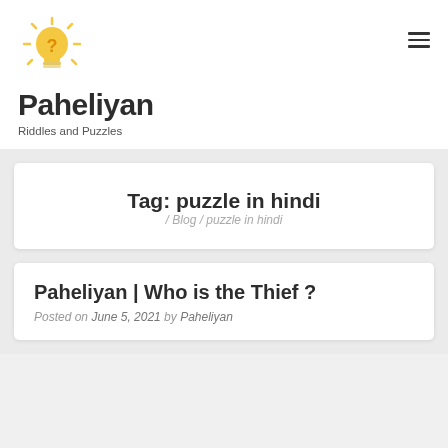[Figure (logo): Lightbulb logo with question mark icon for Paheliyan website]
Paheliyan
Riddles and Puzzles
Tag: puzzle in hindi
/ Blog / puzzle in hindi
Paheliyan | Who is the Thief ?
Posted on June 5, 2021 by Paheliyan